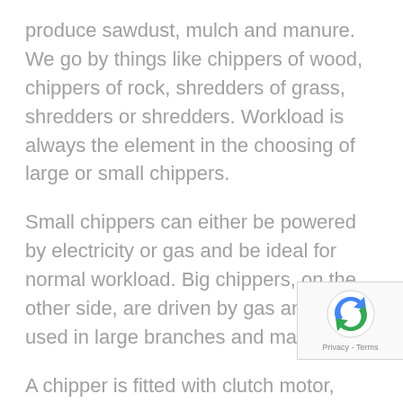produce sawdust, mulch and manure. We go by things like chippers of wood, chippers of rock, shredders of grass, shredders or shredders. Workload is always the element in the choosing of large or small chippers.
Small chippers can either be powered by electricity or gas and be ideal for normal workload. Big chippers, on the other side, are driven by gas and are used in large branches and materials.
A chipper is fitted with clutch motor, amount of blade and electric power. Electric, steam, gas driven and feed chippers can also be chosen for the job.
Edgers They’re called the “vertical devices” that offer the professional look to your grass. It is built from workload to workload on average. An edger has a s sharpening function, a blade length of 7-10 inches, adjustment of depth. Change the handle and length of